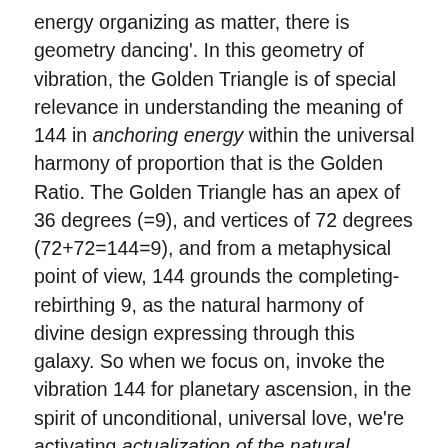energy organizing as matter, there is geometry dancing'. In this geometry of vibration, the Golden Triangle is of special relevance in understanding the meaning of 144 in anchoring energy within the universal harmony of proportion that is the Golden Ratio. The Golden Triangle has an apex of 36 degrees (=9), and vertices of 72 degrees (72+72=144=9), and from a metaphysical point of view, 144 grounds the completing-rebirthing 9, as the natural harmony of divine design expressing through this galaxy. So when we focus on, invoke the vibration 144 for planetary ascension, in the spirit of unconditional, universal love, we're activating actualization of the natural harmony inherent in all creation in this galaxy (as translated numerically and geometrically).
To get a handle on how this works as a miracle of moment to moment choreography, here are some examples of how